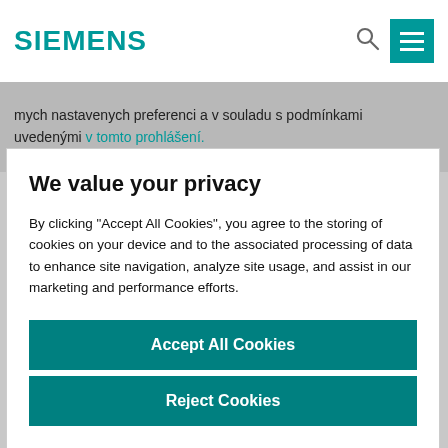SIEMENS
mych nastavenych preferenci a v souladu s podmínkami uvedenými v tomto prohlášení.
We value your privacy
By clicking “Accept All Cookies”, you agree to the storing of cookies on your device and to the associated processing of data to enhance site navigation, analyze site usage, and assist in our marketing and performance efforts.
Accept All Cookies
Reject Cookies
Manage Preferences